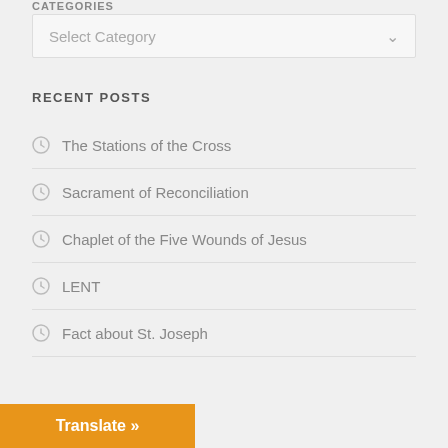CATEGORIES
[Figure (screenshot): A dropdown select box with placeholder text 'Select Category' and a chevron arrow on the right]
RECENT POSTS
The Stations of the Cross
Sacrament of Reconciliation
Chaplet of the Five Wounds of Jesus
LENT
Fact about St. Joseph
Translate »